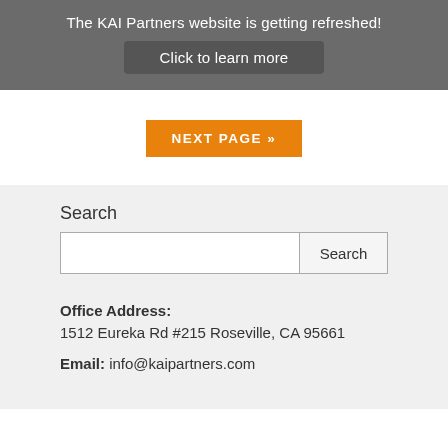The KAI Partners website is getting refreshed!
Click to learn more
NEXT PAGE »
Search
Search
Office Address:
1512 Eureka Rd #215 Roseville, CA 95661
Email: info@kaipartners.com